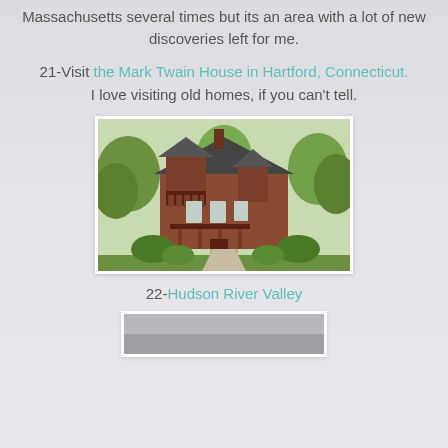Massachusetts several times but its an area with a lot of new discoveries left for me.
21-Visit the Mark Twain House in Hartford, Connecticut. I love visiting old homes, if you can't tell.
[Figure (photo): Photograph of the Mark Twain House in Hartford, Connecticut — a large Victorian-era brick house with a distinctive tower, wrap-around porch, and surrounded by green trees and shrubs.]
22-Hudson River Valley
[Figure (photo): Partial view of a photograph related to Hudson River Valley, showing a gray/muted landscape, cut off at the bottom of the page.]